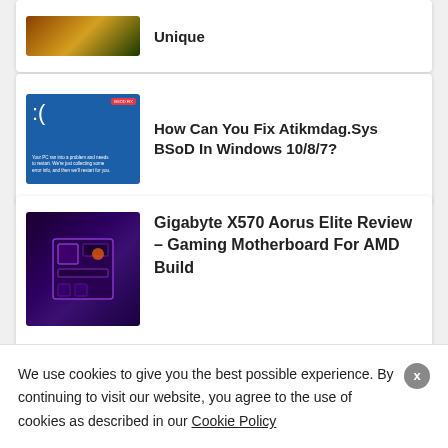[Figure (screenshot): Partial card showing a game thumbnail (colorful/golden) and partial title 'Unique']
[Figure (screenshot): Card showing blue screen of death (BSoD) thumbnail with blue background and sad face icon]
How Can You Fix Atikmdag.Sys BSoD In Windows 10/8/7?
[Figure (screenshot): Card showing Gigabyte X570 Aorus Elite motherboard on dark purple/galaxy background]
Gigabyte X570 Aorus Elite Review – Gaming Motherboard For AMD Build
We use cookies to give you the best possible experience. By continuing to visit our website, you agree to the use of cookies as described in our Cookie Policy